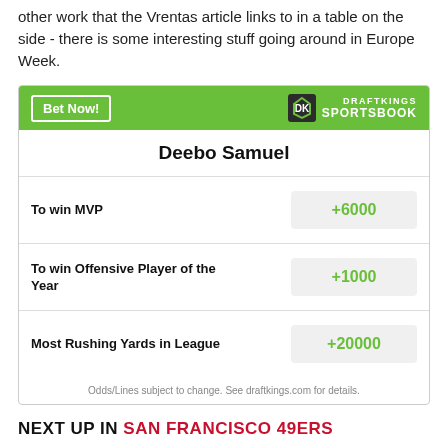other work that the Vrentas article links to in a table on the side - there is some interesting stuff going around in Europe Week.
| Bet | Odds |
| --- | --- |
| To win MVP | +6000 |
| To win Offensive Player of the Year | +1000 |
| Most Rushing Yards in League | +20000 |
Odds/Lines subject to change. See draftkings.com for details.
NEXT UP IN SAN FRANCISCO 49ERS